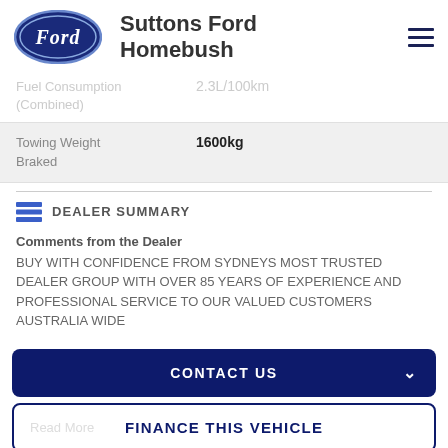Suttons Ford Homebush
| Spec | Value |
| --- | --- |
| Fuel Consumption (Combined) | 2.3L/100km |
| Towing Weight Braked | 1600kg |
DEALER SUMMARY
Comments from the Dealer
BUY WITH CONFIDENCE FROM SYDNEYS MOST TRUSTED DEALER GROUP WITH OVER 85 YEARS OF EXPERIENCE AND PROFESSIONAL SERVICE TO OUR VALUED CUSTOMERS AUSTRALIA WIDE
CONTACT US
FINANCE THIS VEHICLE